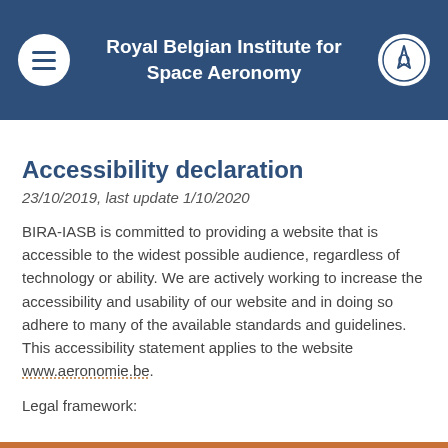Royal Belgian Institute for Space Aeronomy
Accessibility declaration
23/10/2019, last update 1/10/2020
BIRA-IASB is committed to providing a website that is accessible to the widest possible audience, regardless of technology or ability. We are actively working to increase the accessibility and usability of our website and in doing so adhere to many of the available standards and guidelines. This accessibility statement applies to the website www.aeronomie.be.
Legal framework: